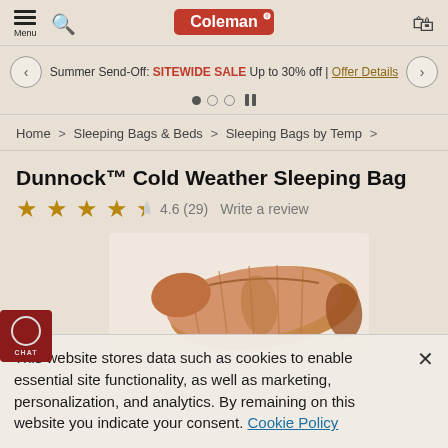Menu | [search icon] | Coleman® | [cart icon]
Summer Send-Off: SITEWIDE SALE Up to 30% off | Offer Details
Home > Sleeping Bags & Beds > Sleeping Bags by Temp >
Dunnock™ Cold Weather Sleeping Bag
★★★★½ 4.6 (29)   Write a review
[Figure (photo): Product photo of the Dunnock Cold Weather Sleeping Bag, shown flat in a tan/brown color with quilted stitching]
This website stores data such as cookies to enable essential site functionality, as well as marketing, personalization, and analytics. By remaining on this website you indicate your consent. Cookie Policy